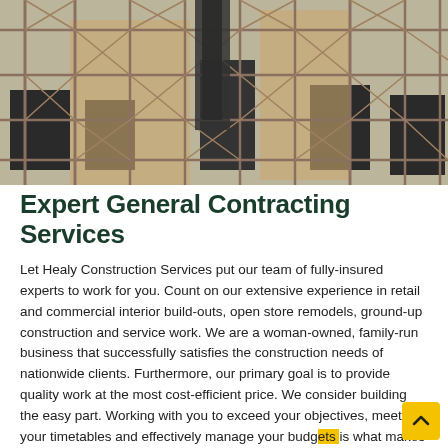[Figure (photo): Photograph of a multi-story building under construction with extensive metal scaffolding covering the brick exterior facade.]
Expert General Contracting Services
Let Healy Construction Services put our team of fully-insured experts to work for you. Count on our extensive experience in retail and commercial interior build-outs, open store remodels, ground-up construction and service work. We are a woman-owned, family-run business that successfully satisfies the construction needs of nationwide clients. Furthermore, our primary goal is to provide quality work at the most cost-efficient price. We consider building the easy part. Working with you to exceed your objectives, meet your timetables and effectively manage your budgets is what makes us different. Get the Healy Construction Services difference today by calling 708-554-3972 or contact